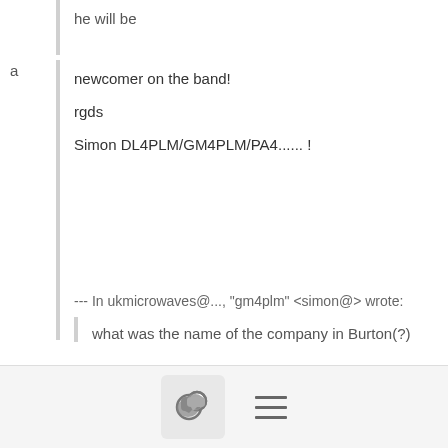he will be
a
newcomer on the band!
rgds
Simon DL4PLM/GM4PLM/PA4...... !
--- In ukmicrowaves@..., "gm4plm" <simon@> wrote:
what was the name of the company in Burton(?)
[Figure (screenshot): Bottom toolbar with comment/chat bubble icon button and hamburger menu icon]